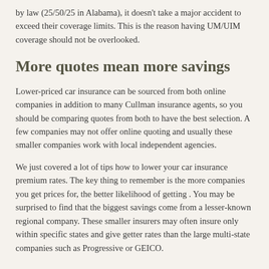by law (25/50/25 in Alabama), it doesn't take a major accident to exceed their coverage limits. This is the reason having UM/UIM coverage should not be overlooked.
More quotes mean more savings
Lower-priced car insurance can be sourced from both online companies in addition to many Cullman insurance agents, so you should be comparing quotes from both to have the best selection. A few companies may not offer online quoting and usually these smaller companies work with local independent agencies.
We just covered a lot of tips how to lower your car insurance premium rates. The key thing to remember is the more companies you get prices for, the better likelihood of getting . You may be surprised to find that the biggest savings come from a lesser-known regional company. These smaller insurers may often insure only within specific states and give getter rates than the large multi-state companies such as Progressive or GEICO.